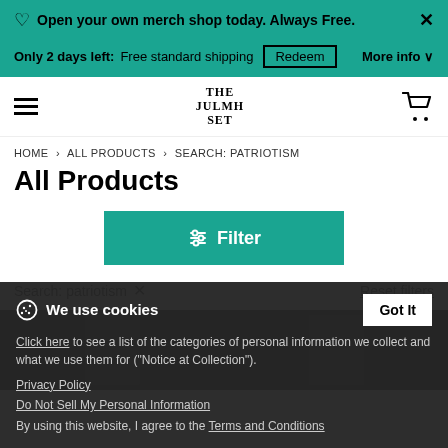Open your own merch shop today. Always Free.
Only 2 days left: Free standard shipping  Redeem  More info
THE JULMH SET (logo)
HOME > ALL PRODUCTS > SEARCH: PATRIOTISM
All Products
⊿ Filter
Search: patriotism ×   Reset filters
We use cookies
Click here to see a list of the categories of personal information we collect and what we use them for ("Notice at Collection").
Privacy Policy
Do Not Sell My Personal Information
By using this website, I agree to the Terms and Conditions